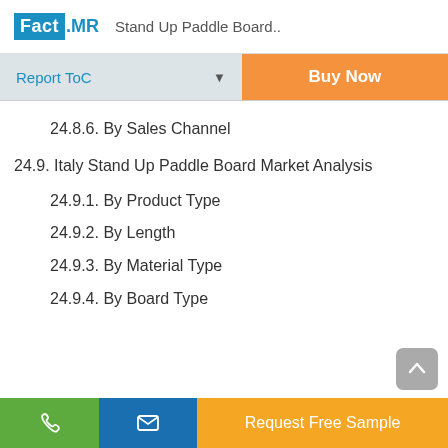Fact.MR  Stand Up Paddle Board..
24.8.6. By Sales Channel
24.9. Italy Stand Up Paddle Board Market Analysis
24.9.1. By Product Type
24.9.2. By Length
24.9.3. By Material Type
24.9.4. By Board Type
Request Free Sample